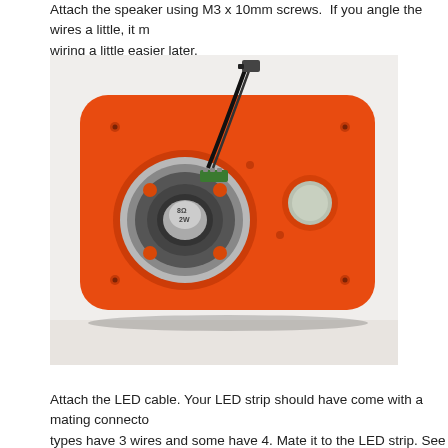Attach the speaker using M3 x 10mm screws. If you angle the wires a little, it makes wiring a little easier later.
[Figure (photo): Photo of an orange rectangular 3D-printed panel with a round speaker mounted on it. The speaker has a silver/black magnet and green PCB terminals. Black wires with a connector lead from the speaker upward. The panel has rounded corners and several small holes.]
Attach the LED cable. Your LED strip should have come with a mating connector. Some types have 3 wires and some have 4. Mate it to the LED strip. See what colors